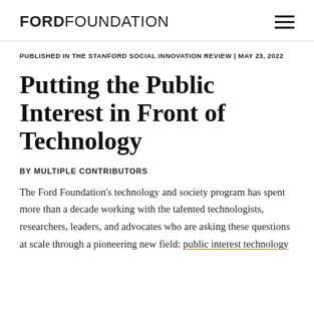FORD FOUNDATION
PUBLISHED IN THE STANFORD SOCIAL INNOVATION REVIEW | MAY 23, 2022
Putting the Public Interest in Front of Technology
BY MULTIPLE CONTRIBUTORS
The Ford Foundation's technology and society program has spent more than a decade working with the talented technologists, researchers, leaders, and advocates who are asking these questions at scale through a pioneering new field: public interest technology.